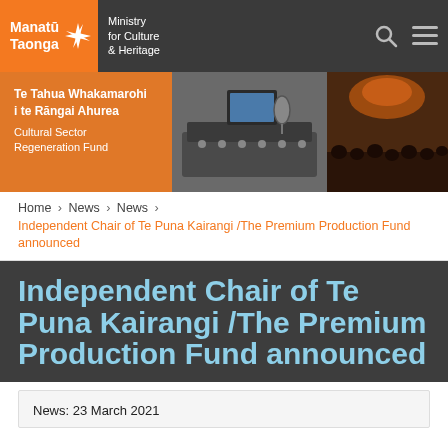Manatū Taonga | Ministry for Culture & Heritage
[Figure (photo): Banner image with orange left panel reading 'Te Tahua Whakamarohi i te Rāngai Ahurea / Cultural Sector Regeneration Fund' and two photos: a recording studio and a concert audience]
Home > News > News > Independent Chair of Te Puna Kairangi /The Premium Production Fund announced
Independent Chair of Te Puna Kairangi /The Premium Production Fund announced
News: 23 March 2021